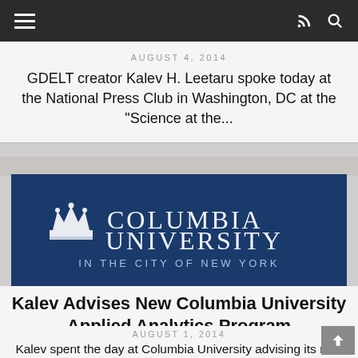Navigation bar with menu, RSS, and search icons
AUGUST 4, 2014
GDELT creator Kalev H. Leetaru spoke today at the National Press Club in Washington, DC at the "Science at the...
[Figure (logo): Columbia University in the City of New York logo on dark blue background]
Kalev Advises New Columbia University Applied Analytics Program
AUGUST 1, 2014
Kalev spent the day at Columbia University advising its new Applied Analytics program, led by Procter & Gamble CIO